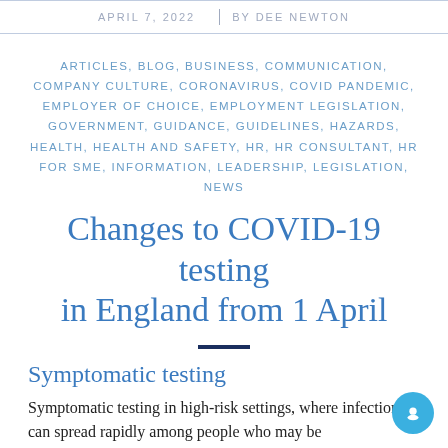APRIL 7, 2022 | BY DEE NEWTON
ARTICLES, BLOG, BUSINESS, COMMUNICATION, COMPANY CULTURE, CORONAVIRUS, COVID PANDEMIC, EMPLOYER OF CHOICE, EMPLOYMENT LEGISLATION, GOVERNMENT, GUIDANCE, GUIDELINES, HAZARDS, HEALTH, HEALTH AND SAFETY, HR, HR CONSULTANT, HR FOR SME, INFORMATION, LEADERSHIP, LEGISLATION, NEWS
Changes to COVID-19 testing in England from 1 April
Symptomatic testing
Symptomatic testing in high-risk settings, where infection can spread rapidly among people who may be